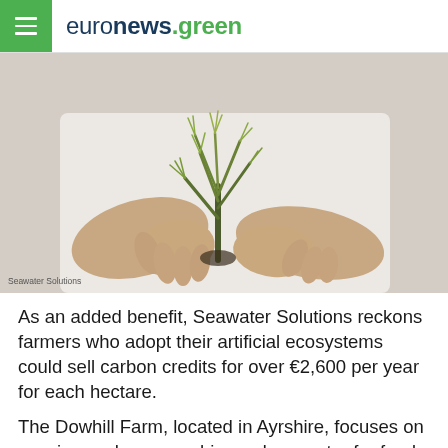euronews.green
[Figure (photo): Person in white shirt holding a small green plant (samphire) with both hands, close-up photo]
Seawater Solutions
As an added benefit, Seawater Solutions reckons farmers who adopt their artificial ecosystems could sell carbon credits for over €2,600 per year for each hectare.
The Dowhill Farm, located in Ayrshire, focuses on species such as samphire and sea aster for food